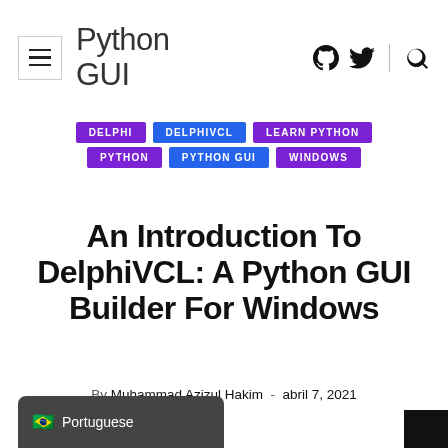Python GUI
DELPHI
DELPHIVCL
LEARN PYTHON
PYTHON
PYTHON GUI
WINDOWS
An Introduction To DelphiVCL: A Python GUI Builder For Windows
By Muhammad Azizul Hakim  -  abril 7, 2021
🇧🇷 Portuguese